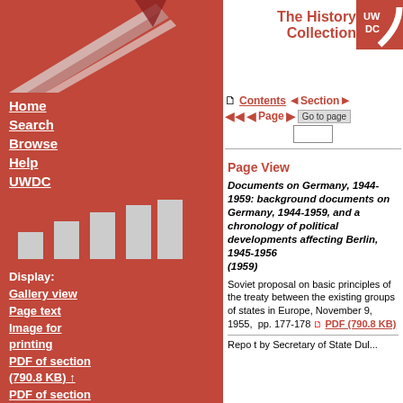[Figure (logo): UWDC logo - red square with UW DC text in white, shown in top right corner]
The History Collection
[Figure (illustration): Decorative pages/paper fan image in top left header area]
Home
Search
Browse
Help
UWDC
[Figure (bar-chart): Small bar chart graphic in sidebar showing 5 bars of increasing height]
Display:
Gallery view
Page text
Image for printing
PDF of section (790.8 KB) ↑
PDF of section
Page View
Documents on Germany, 1944-1959: background documents on Germany, 1944-1959, and a chronology of political developments affecting Berlin, 1945-1956
(1959)
Soviet proposal on basic principles of the treaty between the existing groups of states in Europe, November 9, 1955,  pp. 177-178  PDF (790.8 KB)
Repo t by Secretary of State Dul...